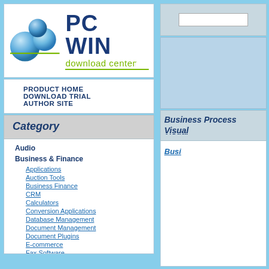[Figure (logo): PC WIN Download Center logo with blue spheres and text]
PRODUCT HOME
DOWNLOAD TRIAL
AUTHOR SITE
Category
Audio
Business & Finance
Applications
Auction Tools
Business Finance
CRM
Calculators
Conversion Applications
Database Management
Document Management
Document Plugins
E-commerce
Fax Software
Inventory Systems
Business Process Visual
Busi